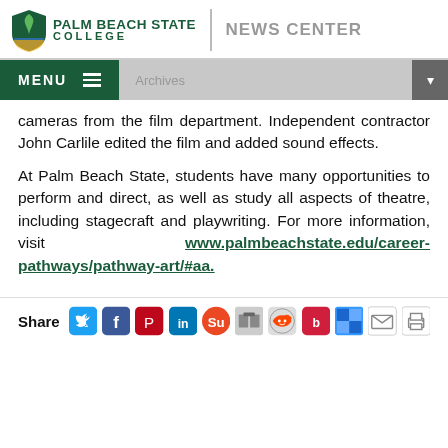PALM BEACH STATE COLLEGE | NEWS CENTER
cameras from the film department. Independent contractor John Carlile edited the film and added sound effects.
At Palm Beach State, students have many opportunities to perform and direct, as well as study all aspects of theatre, including stagecraft and playwriting. For more information, visit www.palmbeachstate.edu/career-pathways/pathway-art/#aa.
Share